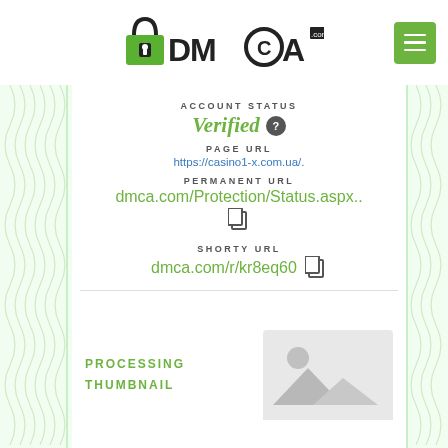[Figure (logo): DMCA.com logo with padlock icon]
ACCOUNT STATUS
Verified ?
PAGE URL
https://casino1-x.com.ua/.
PERMANENT URL
dmca.com/Protection/Status.aspx..
SHORTY URL
dmca.com/r/kr8eq60
PROCESSING THUMBNAIL